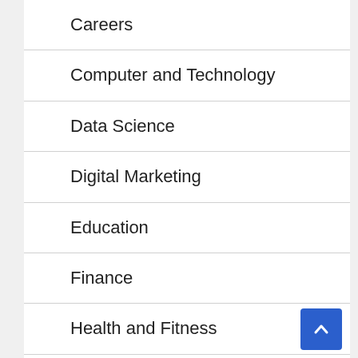Careers
Computer and Technology
Data Science
Digital Marketing
Education
Finance
Health and Fitness
Legal